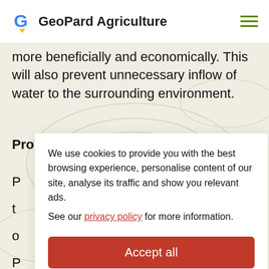GeoPard Agriculture
more beneficially and economically. This will also prevent unnecessary inflow of water to the surrounding environment.
Proper irrigation management
We use cookies to provide you with the best browsing experience, personalise content of our site, analyse its traffic and show you relevant ads.
See our privacy policy for more information.
Accept all